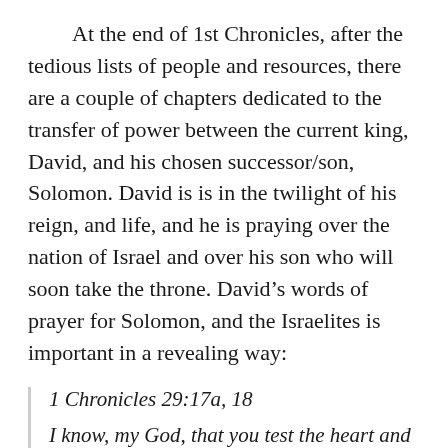At the end of 1st Chronicles, after the tedious lists of people and resources, there are a couple of chapters dedicated to the transfer of power between the current king, David, and his chosen successor/son, Solomon. David is is in the twilight of his reign, and life, and he is praying over the nation of Israel and over his son who will soon take the throne. David's words of prayer for Solomon, and the Israelites is important in a revealing way:
1 Chronicles 29:17a, 18
I know, my God, that you test the heart and have pleasure in uprightness...O Lord...keep